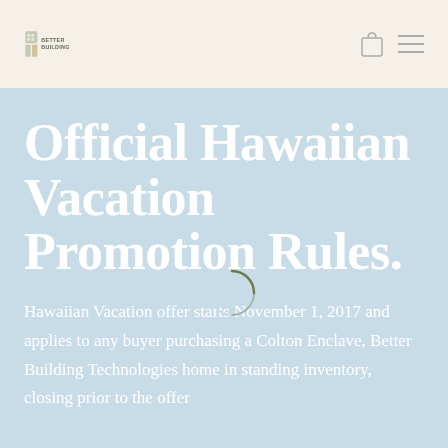Better Building [logo]
Official Hawaiian Vacation Promotion Rules.
Hawaiian Vacation offer starts November 1, 2017 and applies to any buyer purchasing a Colton Enclave, Better Building Technologies home in standing inventory, closing prior to the offer